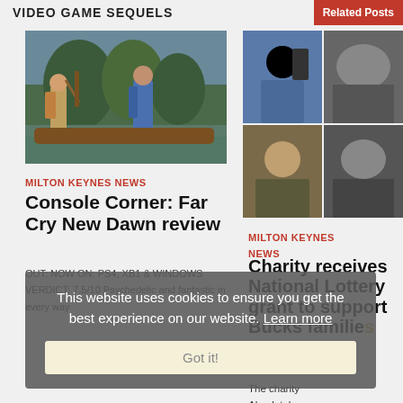VIDEO GAME SEQUELS
Related Posts
[Figure (photo): Far Cry New Dawn video game screenshot showing two female characters in a post-apocalyptic wilderness setting]
[Figure (photo): Grid of four related post thumbnail images showing various people]
MILTON KEYNES NEWS
Console Corner: Far Cry New Dawn review
OUT: NOW ON: PS4, XB1 & WINDOWS
VERDICT: 7.5/10 Psychedelic and fantastic in every way
MILTON KEYNES NEWS
Charity receives National Lottery grant to support Bucks families
The charity Absolutely
This website uses cookies to ensure you get the best experience on our website. Learn more
Got it!